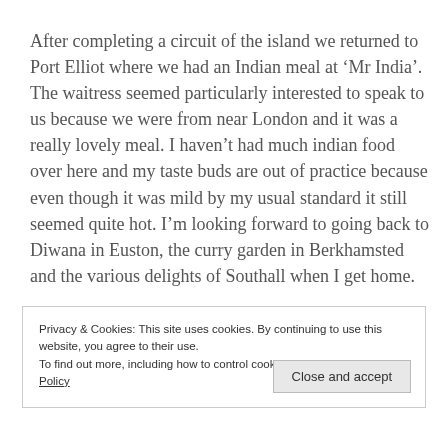After completing a circuit of the island we returned to Port Elliot where we had an Indian meal at ‘Mr India’. The waitress seemed particularly interested to speak to us because we were from near London and it was a really lovely meal. I haven’t had much indian food over here and my taste buds are out of practice because even though it was mild by my usual standard it still seemed quite hot. I’m looking forward to going back to Diwana in Euston, the curry garden in Berkhamsted and the various delights of Southall when I get home.
Privacy & Cookies: This site uses cookies. By continuing to use this website, you agree to their use.
To find out more, including how to control cookies, see here: Cookie Policy
Close and accept